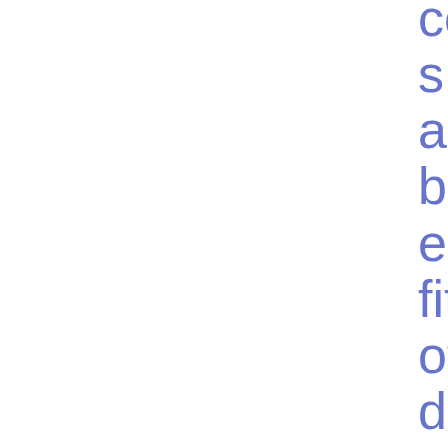costs and benefits of developing a coherent cyber resilience testing framework for significantly